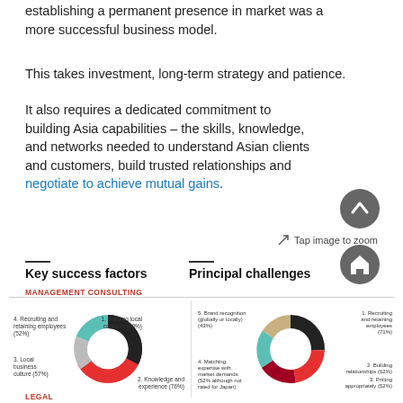establishing a permanent presence in market was a more successful business model.
This takes investment, long-term strategy and patience.
It also requires a dedicated commitment to building Asia capabilities – the skills, knowledge, and networks needed to understand Asian clients and customers, build trusted relationships and negotiate to achieve mutual gains.
Key success factors
Principal challenges
MANAGEMENT CONSULTING
[Figure (donut-chart): Key success factors - Management Consulting]
[Figure (donut-chart): Principal challenges - Management Consulting]
LEGAL